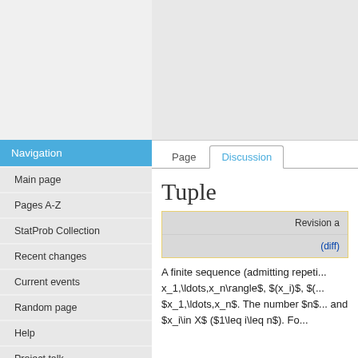Navigation
Main page
Pages A-Z
StatProb Collection
Recent changes
Current events
Random page
Help
Project talk
Request account
Page  Discussion
Tuple
| Revision a | (diff) |
| --- | --- |
A finite sequence (admitting repeti... x_1,\ldots,x_n\rangle$, $(x_i)$, $(... $x_1,\ldots,x_n$. The number $n$... and $x_i\in X$ ($1\leq i\leq n$). Fo...